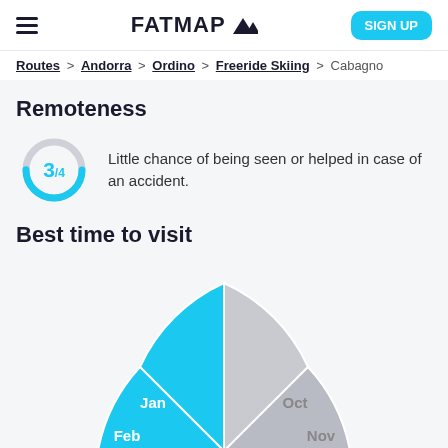FATMAP (logo) | SIGN UP
Routes > Andorra > Ordino > Freeride Skiing > Cabagno
Remoteness
[Figure (donut-chart): Donut/gauge chart showing remoteness score 3 out of 4, approximately 3/4 of the ring filled in blue]
Little chance of being seen or helped in case of an accident.
Best time to visit
[Figure (pie-chart): Half-circle pie chart showing best months to visit. Jan, Feb, Mar are highlighted in blue; Oct, Nov, Dec are shown in gray.]